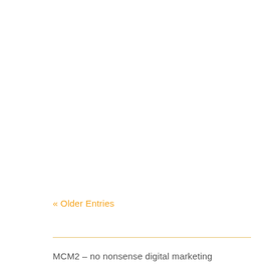« Older Entries
MCM2 – no nonsense digital marketing